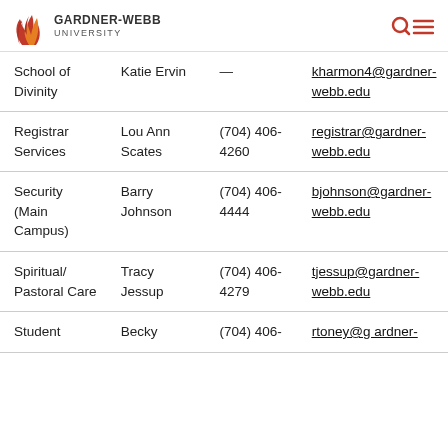GARDNER-WEBB UNIVERSITY
| Department | Name | Phone | Email |
| --- | --- | --- | --- |
| School of Divinity | Katie Ervin | — | kharmon4@gardner-webb.edu |
| Registrar Services | Lou Ann Scates | (704) 406-4260 | registrar@gardner-webb.edu |
| Security (Main Campus) | Barry Johnson | (704) 406-4444 | bjohnson@gardner-webb.edu |
| Spiritual/Pastoral Care | Tracy Jessup | (704) 406-4279 | tjessup@gardner-webb.edu |
| Student | Becky | (704) 406- | rtoney@gardner- |